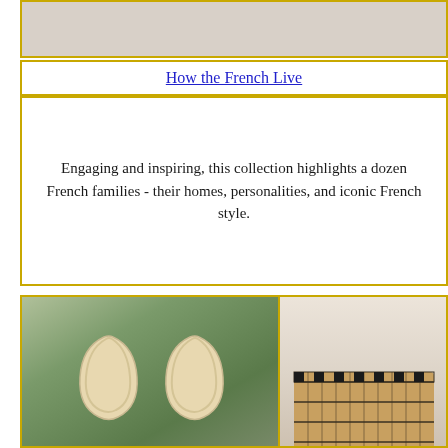[Figure (photo): Top partial image strip - light beige/gray background photo]
How the French Live
Engaging and inspiring, this collection highlights a dozen French families - their homes, personalities, and iconic French style.
[Figure (photo): Left: cream-colored loop earrings on sage green background. Right: woven black and tan basket/bag on neutral background.]